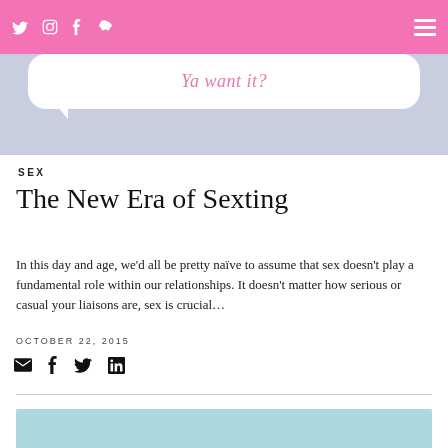Navigation bar with social icons (Twitter, Instagram, Facebook, Snapchat) and hamburger menu
[Figure (illustration): Hero image: light periwinkle/lavender background with a white speech bubble containing the text 'Ya want it?' in pink italic text]
SEX
The New Era of Sexting
In this day and age, we’d all be pretty naïve to assume that sex doesn’t play a fundamental role within our relationships. It doesn’t matter how serious or casual your liaisons are, sex is crucial…
OCTOBER 22, 2015
[Figure (illustration): Share icons: email, facebook, twitter, linkedin]
[Figure (illustration): Bottom light blue/teal image area]